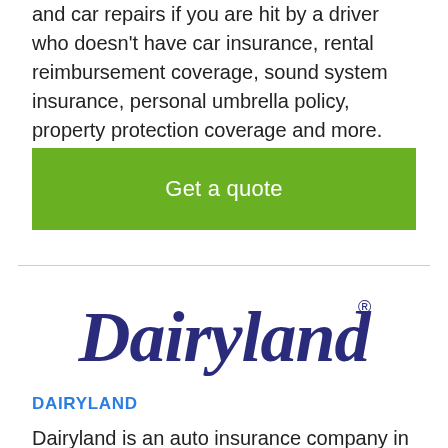and car repairs if you are hit by a driver who doesn't have car insurance, rental reimbursement coverage, sound system insurance, personal umbrella policy, property protection coverage and more.
Get a quote
[Figure (logo): Dairyland logo in dark navy/purple italic script font with registered trademark symbol]
DAIRYLAND
Dairyland is an auto insurance company in